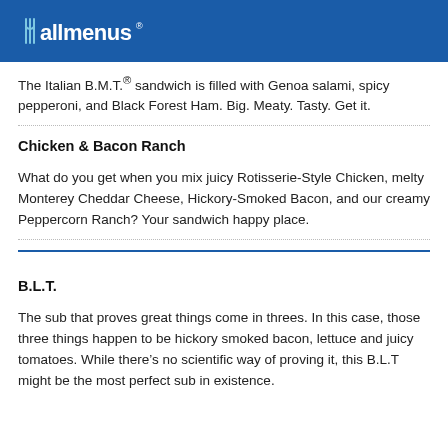allmenus
The Italian B.M.T.® sandwich is filled with Genoa salami, spicy pepperoni, and Black Forest Ham. Big. Meaty. Tasty. Get it.
Chicken & Bacon Ranch
What do you get when you mix juicy Rotisserie-Style Chicken, melty Monterey Cheddar Cheese, Hickory-Smoked Bacon, and our creamy Peppercorn Ranch? Your sandwich happy place.
B.L.T.
The sub that proves great things come in threes. In this case, those three things happen to be hickory smoked bacon, lettuce and juicy tomatoes. While there's no scientific way of proving it, this B.L.T might be the most perfect sub in existence.